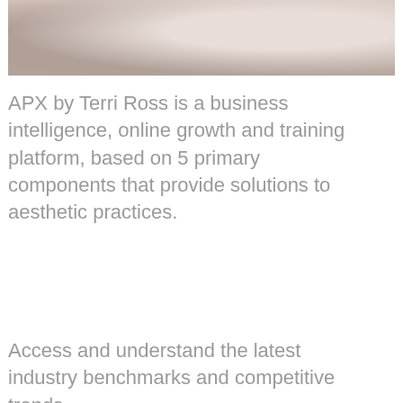[Figure (photo): Partial view of a person in medical/healthcare setting, wearing gloves, light-toned background]
APX by Terri Ross is a business intelligence, online growth and training platform, based on 5 primary components that provide solutions to aesthetic practices.
Access and understand the latest industry benchmarks and competitive trends